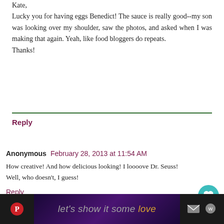Kate,
Lucky you for having eggs Benedict! The sauce is really good--my son was looking over my shoulder, saw the photos, and asked when I was making that again. Yeah, like food bloggers do repeats.
Thanks!
Reply
Anonymous  February 28, 2013 at 11:54 AM
How creative! And how delicious looking! I loooove Dr. Seuss! Well, who doesn't, I guess!
Reply
Replies
kirsten@FarmFreshFeasts  March 2, 2013 at 7:08
let's show it some love